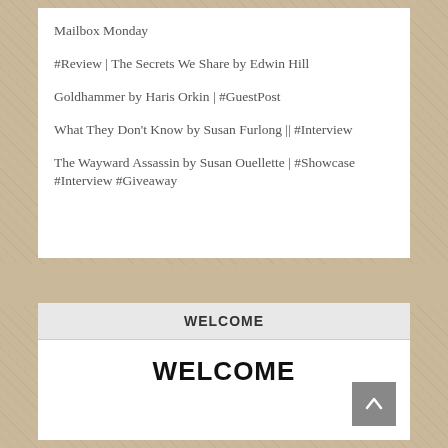Mailbox Monday
#Review | The Secrets We Share by Edwin Hill
Goldhammer by Haris Orkin | #GuestPost
What They Don't Know by Susan Furlong || #Interview
The Wayward Assassin by Susan Ouellette | #Showcase #Interview #Giveaway
WELCOME
[Figure (illustration): WELCOME heading in bold black text with an image of a white coffee cup on a saucer with coffee beans scattered nearby]
[Figure (other): Scroll-to-top arrow button in grey]